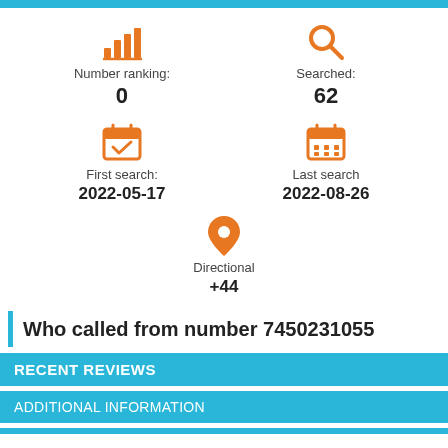[Figure (infographic): Number ranking stat: icon (bar chart, orange), label 'Number ranking:', value '0']
[Figure (infographic): Searched stat: icon (magnifying glass, orange), label 'Searched:', value '62']
[Figure (infographic): First search stat: icon (calendar with checkmark, orange), label 'First search:', value '2022-05-17']
[Figure (infographic): Last search stat: icon (calendar grid, orange), label 'Last search', value '2022-08-26']
[Figure (infographic): Directional stat: icon (map pin, orange), label 'Directional', value '+44']
Who called from number 7450231055
RECENT REVIEWS
ADDITIONAL INFORMATION